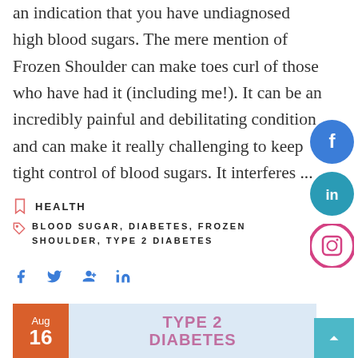an indication that you have undiagnosed high blood sugars. The mere mention of Frozen Shoulder can make toes curl of those who have had it (including me!). It can be an incredibly painful and debilitating condition and can make it really challenging to keep tight control of blood sugars. It interferes ...
HEALTH
BLOOD SUGAR, DIABETES, FROZEN SHOULDER, TYPE 2 DIABETES
[Figure (infographic): Social share icons: Facebook, Twitter, Google+, LinkedIn]
[Figure (infographic): Right-side social media circles: Facebook (blue), LinkedIn (blue), Instagram (pink)]
[Figure (infographic): Bottom card showing 'Aug 16' date box in orange-brown and 'TYPE 2 DIABETES' text on light blue background]
[Figure (infographic): Scroll-to-top button (teal/cyan square with up arrow)]